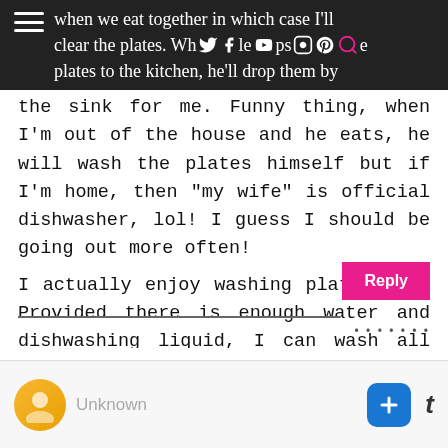when we eat together in which case I'll clear the plates. Whenever he drops takes the plates to the kitchen, he'll drop them by
the sink for me. Funny thing, when I'm out of the house and he eats, he will wash the plates himself but if I'm home, then "my wife" is official dishwasher, lol! I guess I should be going out more often!
I actually enjoy washing plates sha. Provided there is enough water and dishwashing liquid, I can wash all the plates used by the 5000!
yemfasho@yahoo.com
Unknown